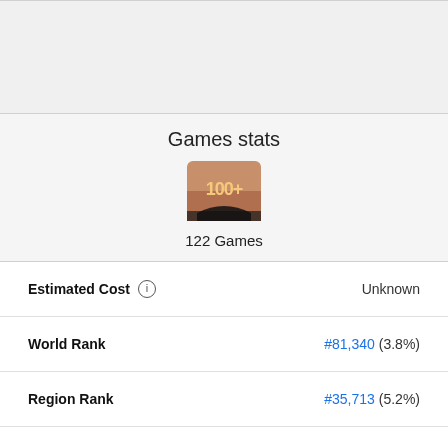[Figure (other): Gray banner area at top of page]
Games stats
[Figure (illustration): Bronze/copper colored badge showing '100+' text with shadow, representing 100+ games achievement]
122 Games
| Stat | Value |
| --- | --- |
| Estimated Cost ⓘ | Unknown |
| World Rank | #81,340 (3.8%) |
| Region Rank | #35,713 (5.2%) |
| Country Rank | #5,013 (2.6%) |
| Best World Rank ⓘ | #81,340 |